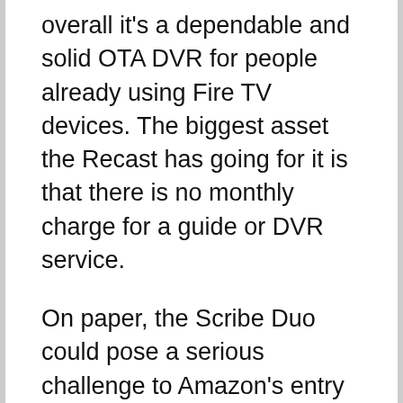overall it's a dependable and solid OTA DVR for people already using Fire TV devices. The biggest asset the Recast has going for it is that there is no monthly charge for a guide or DVR service.
On paper, the Scribe Duo could pose a serious challenge to Amazon's entry into the OTA DVR market. The Scribe Duo is expected to be priced at $199.99. That's $30 cheaper than the Recast.
The Fire TV Recast ($229 at Amazon) has 500GB of storage – about half of the